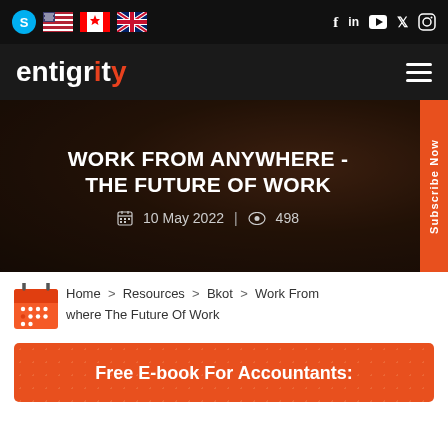Entigrity website header with navigation icons: Skype, US flag, Canada flag, UK flag, and social icons: f, in, YouTube, Twitter, Instagram
[Figure (logo): Entigrity logo on dark background with hamburger menu icon]
[Figure (photo): Hero banner with dark overlay showing article title: WORK FROM ANYWHERE - THE FUTURE OF WORK, dated 10 May 2022, 498 views]
WORK FROM ANYWHERE - THE FUTURE OF WORK
📅 10 May 2022  |  👁 498
Home > Resources > Bkot > Work From where The Future Of Work
Free E-book For Accountants: